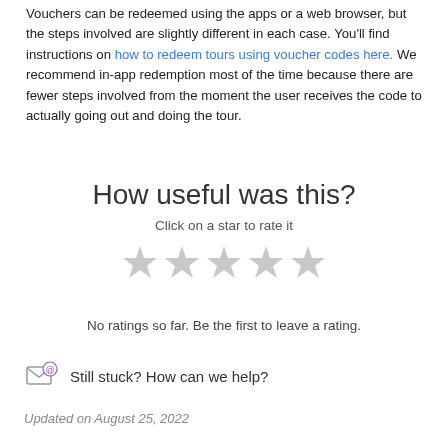Vouchers can be redeemed using the apps or a web browser, but the steps involved are slightly different in each case. You'll find instructions on how to redeem tours using voucher codes here. We recommend in-app redemption most of the time because there are fewer steps involved from the moment the user receives the code to actually going out and doing the tour.
How useful was this?
Click on a star to rate it
[Figure (illustration): Five empty/grey star icons for rating]
No ratings so far. Be the first to leave a rating.
Still stuck? How can we help?
Updated on August 25, 2022